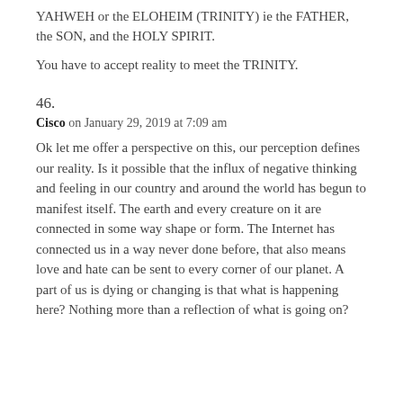YAHWEH or the ELOHEIM (TRINITY) ie the FATHER, the SON, and the HOLY SPIRIT.
You have to accept reality to meet the TRINITY.
46.
Cisco on January 29, 2019 at 7:09 am
Ok let me offer a perspective on this, our perception defines our reality. Is it possible that the influx of negative thinking and feeling in our country and around the world has begun to manifest itself. The earth and every creature on it are connected in some way shape or form. The Internet has connected us in a way never done before, that also means love and hate can be sent to every corner of our planet. A part of us is dying or changing is that what is happening here? Nothing more than a reflection of what is going on?